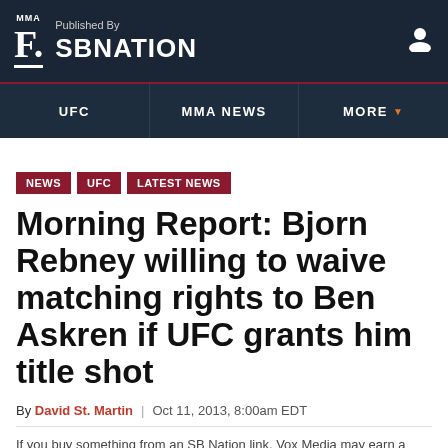MMA F. Published By SBNATION
UFC | MMA NEWS | MORE
NEWS
UFC
LATEST NEWS
Morning Report: Bjorn Rebney willing to waive matching rights to Ben Askren if UFC grants him title shot
By David St. Martin | Oct 11, 2013, 8:00am EDT
If you buy something from an SB Nation link, Vox Media may earn a commission...